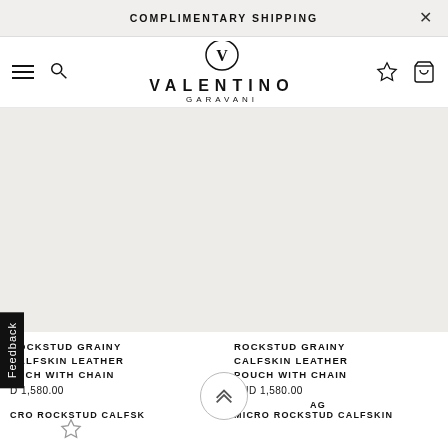COMPLIMENTARY SHIPPING
[Figure (logo): Valentino Garavani logo with stylized V in circle]
ROCKSTUD GRAINY CALFSKIN LEATHER POUCH WITH CHAIN
AUD 1,580.00
ROCKSTUD GRAINY CALFSKIN LEATHER POUCH WITH CHAIN
AUD 1,580.00
MICRO ROCKSTUD CALFSKIN ... AG
MICRO ROCKSTUD CALFSKIN